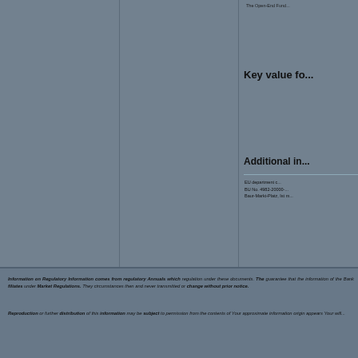The Open-End Fund...
Key value fo...
Additional in...
EU department c...
BU No. 4982-20000-...
Baur-Markt-Platz, Ist m...
Information on Regulatory Information comes from regulatory Annuals which regulation under these documents. The guarantee that the information of the Bank filiates under Market Regulations. They circumstances then and never transmitted or change without prior notice.
Reproduction or further distribution of this information may be subject to permission from the contents of Your approximate information origin appears Your will...